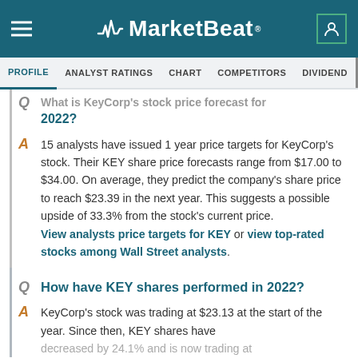MarketBeat
PROFILE | ANALYST RATINGS | CHART | COMPETITORS | DIVIDEND | EARNINGS
What is KeyCorp's stock price forecast for 2022?
15 analysts have issued 1 year price targets for KeyCorp's stock. Their KEY share price forecasts range from $17.00 to $34.00. On average, they predict the company's share price to reach $23.39 in the next year. This suggests a possible upside of 33.3% from the stock's current price. View analysts price targets for KEY or view top-rated stocks among Wall Street analysts.
How have KEY shares performed in 2022?
KeyCorp's stock was trading at $23.13 at the start of the year. Since then, KEY shares have decreased by 24.1% and is now trading at